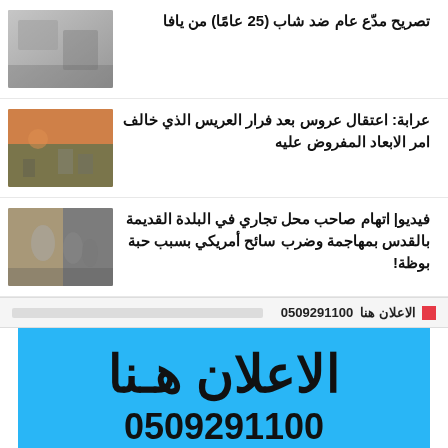تصريح مدّع عام ضد شاب (25 عامًا) من يافا
[Figure (photo): Thumbnail image for first news item]
عرابة: اعتقال عروس بعد فرار العريس الذي خالف امر الابعاد المفروض عليه
[Figure (photo): Thumbnail image showing street scene with people]
فيديو| اتهام صاحب محل تجاري في البلدة القديمة بالقدس بمهاجمة وضرب سائح أمريكي بسبب حبة بوظة!
[Figure (photo): Thumbnail image showing people in alley]
الاعلان هنا 0509291100
[Figure (infographic): Blue advertisement banner reading: الاعلان هنا with phone number]